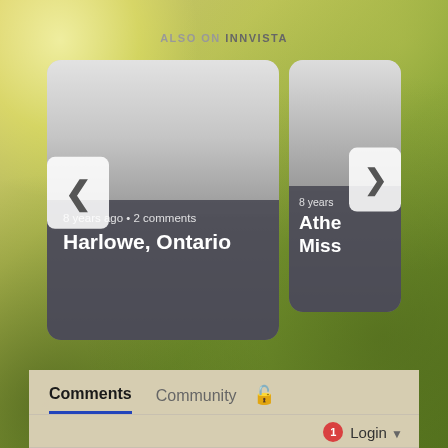[Figure (screenshot): Website UI screenshot showing 'Also on INNVISTA' section with two content cards. Left card shows '8 years ago • 2 comments' and 'Harlowe, Ontario'. Right card (partially visible) shows '8 years' and 'Athe Miss'. Navigation arrows visible. Background is a yellow-green field photo. Below the cards is a Comments/Community tab bar, a Login button with notification badge (1), a Favorite/Sort by Best bar, and a 'Start the discussion...' input field.]
ALSO ON INNVISTA
8 years ago • 2 comments
Harlowe, Ontario
8 years
Athe Miss
Comments
Community
1
Login
Favorite
Sort by Best
Start the discussion...